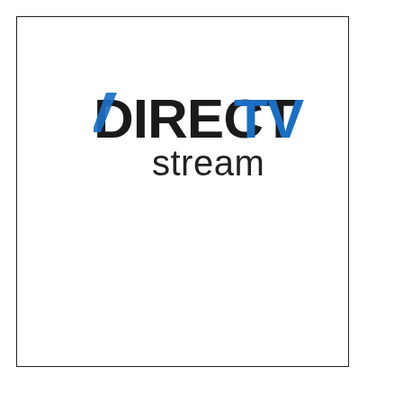[Figure (logo): DIRECTV stream logo. 'DIRECT' in bold dark text with a blue diagonal slash accent replacing the letter D's interior, 'TV' in bold blue, and 'stream' in dark gray below in a rounded sans-serif font.]